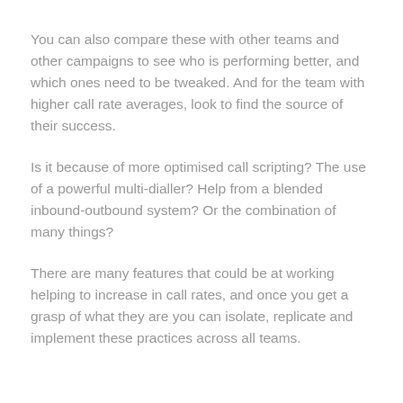You can also compare these with other teams and other campaigns to see who is performing better, and which ones need to be tweaked. And for the team with higher call rate averages, look to find the source of their success.
Is it because of more optimised call scripting? The use of a powerful multi-dialler? Help from a blended inbound-outbound system? Or the combination of many things?
There are many features that could be at working helping to increase in call rates, and once you get a grasp of what they are you can isolate, replicate and implement these practices across all teams.